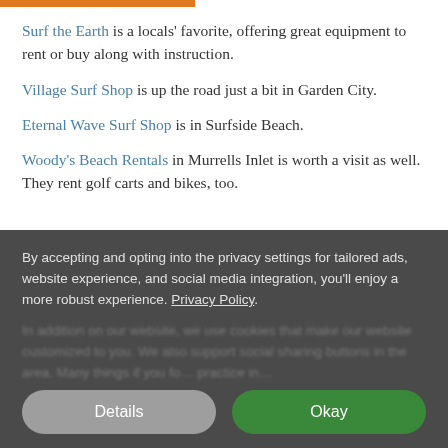Surf the Earth is a locals' favorite, offering great equipment to rent or buy along with instruction.
Village Surf Shop is up the road just a bit in Garden City.
Eternal Wave Surf Shop is in Surfside Beach.
Woody's Beach Rentals in Murrells Inlet is worth a visit as well. They rent golf carts and bikes, too.
By accepting and opting into the privacy settings for tailored ads, website experience, and social media integration, you'll enjoy a more robust experience. Privacy Policy
Details | Okay